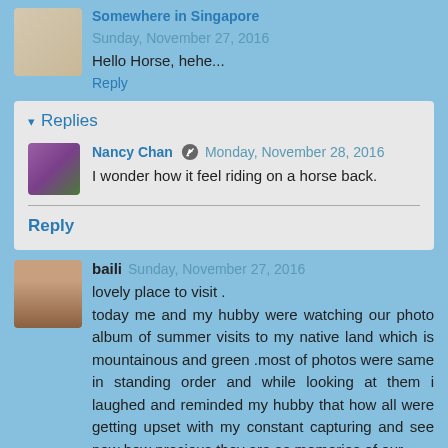Somewhere in Singapore  Sunday, November 27, 2016
Hello Horse, hehe...
Reply
Replies
Nancy Chan  Monday, November 28, 2016
I wonder how it feel riding on a horse back.
Reply
baili  Sunday, November 27, 2016
lovely place to visit .
today me and my hubby were watching our photo album of summer visits to my native land which is mountainous and green .most of photos were same in standing order and while looking at them i laughed and reminded my hubby that how all were getting upset with my constant capturing and see now how precious they are as memories of our